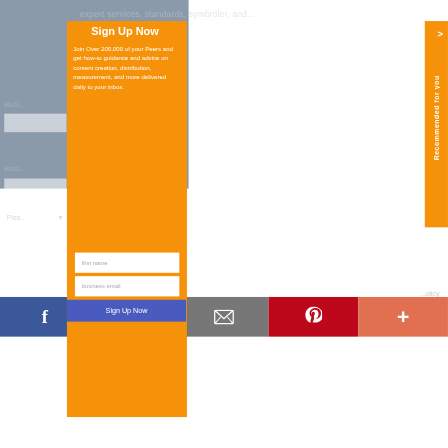[Figure (screenshot): Website background with form elements, partially visible behind modal overlay]
Sign Up Now
Join Over 200,000 of your Peers and get how-to guidance and advice on content creation, distribution, measurement, and more delivered daily to your inbox.
first name
business email
Sign Up Now
[Figure (infographic): Bottom social sharing bar with Facebook, Twitter, email, Pinterest, and more (+) icons]